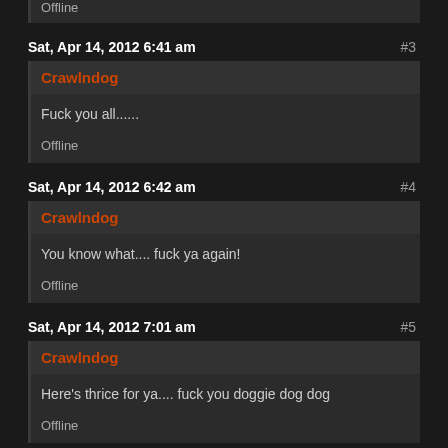Offline
Sat, Apr 14, 2012 6:41 am  #3
Crawlndog
Fuck you all......
Offline
Sat, Apr 14, 2012 6:42 am  #4
Crawlndog
You know what.... fuck ya again!
Offline
Sat, Apr 14, 2012 7:01 am  #5
Crawlndog
Here's thrice for ya.... fuck you doggie dog dog
Offline
Sat, Apr 14, 2012 9:25 am  #6
Cptcantshoot
better great a " Bigger super duper knife" or just learn how to swing one